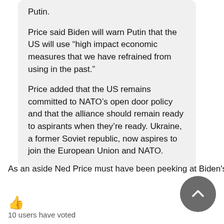Putin.
Price said Biden will warn Putin that the US will use “high impact economic measures that we have refrained from using in the past.”
Price added that the US remains committed to NATO’s open door policy and that the alliance should remain ready to aspirants when they’re ready. Ukraine, a former Soviet republic, now aspires to join the European Union and NATO.
As an aside Ned Price must have been peeking at Biden's teleprompter.
10 users have voted